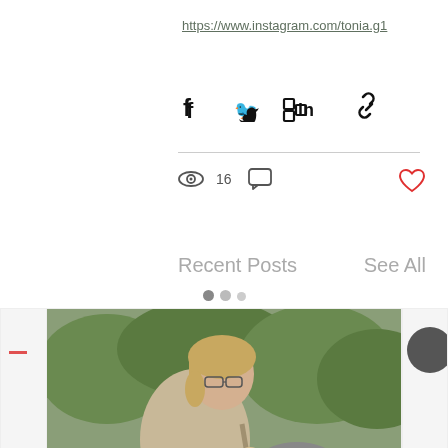https://www.instagram.com/tonia.g1
[Figure (infographic): Share bar with social media icons: Facebook, Twitter, LinkedIn, and a link/chain icon]
16 views, 0 comments, heart/like button
Recent Posts
See All
[Figure (photo): Card showing a woman with glasses and blonde hair outdoors near water and rocks, with a caption 'Sharon Brown signs publishing deal with Th...']
Sharon Brown signs publishing deal with Th...